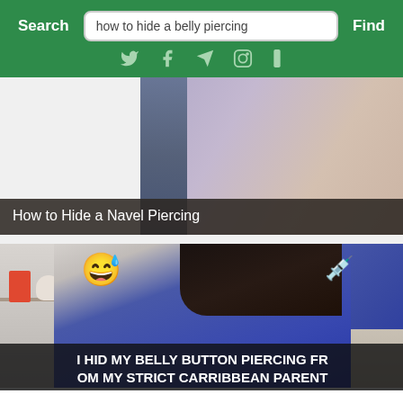Search | how to hide a belly piercing | Find
[Figure (screenshot): Screenshot of a search engine interface with green header, search bar containing 'how to hide a belly piercing', social media icons (Twitter, Facebook, Telegram, Instagram), and search results showing thumbnail images with titles including 'How to Hide a Navel Piercing' and 'I HID MY BELLY BUTTON PIERCING FROM MY STRICT CARRIBBEAN PARENTS FOR OVER 365 DAYS']